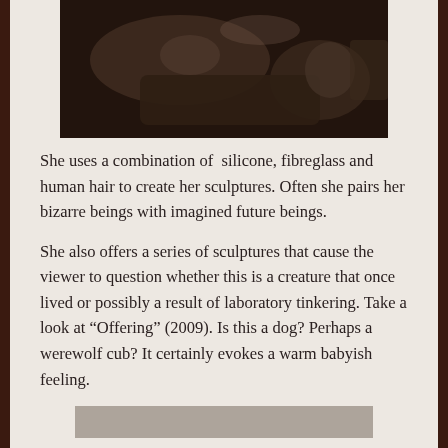[Figure (photo): Dark photograph showing figures resting on a bed or couch in a dimly lit room, with dramatic chiaroscuro lighting. Appears to show a person lying down and possibly sculptural or unusual figures nearby.]
She uses a combination of  silicone, fibreglass and human hair to create her sculptures. Often she pairs her bizarre beings with imagined future beings.
She also offers a series of sculptures that cause the viewer to question whether this is a creature that once lived or possibly a result of laboratory tinkering. Take a look at “Offering” (2009). Is this a dog? Perhaps a werewolf cub? It certainly evokes a warm babyish feeling.
[Figure (photo): Partial view of another photograph at the bottom of the page, showing a grey/neutral toned image, cropped.]